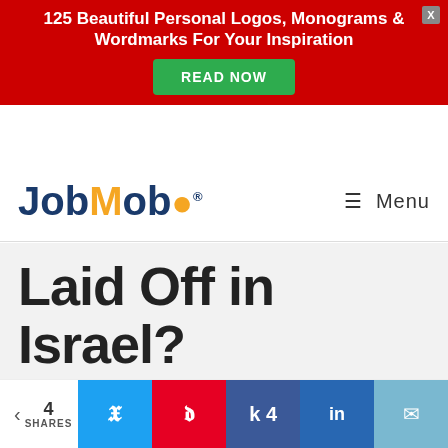[Figure (screenshot): Red advertisement banner with white bold text '125 Beautiful Personal Logos, Monograms & Wordmarks For Your Inspiration', a green 'READ NOW' button, and a grey X close button in top right]
[Figure (logo): JobMob logo: 'Job' in dark blue, 'M' in dark blue, 'ob' in orange with speech bubble dot, registered trademark symbol]
☰ Menu
Laid Off in Israel? Make Sure You Get All These Termination Rights
[Figure (screenshot): Social share bar with share count of 4, Twitter, Pinterest, Facebook (4), LinkedIn, and Email buttons]